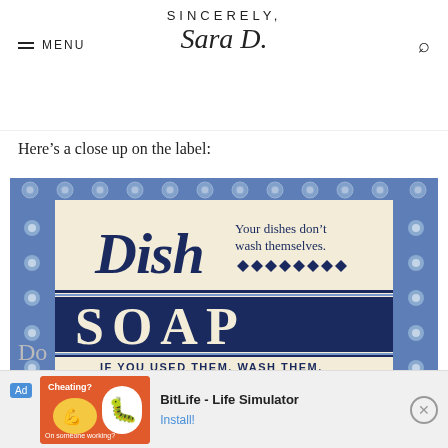SINCERELY, Sara D.
Here’s a close up on the label:
[Figure (photo): A dish soap label with blue decorative tile border. Top section on cream background shows 'Dish' in large script font with 'Your dishes don't wash themselves.' and diamond pattern decorations. Middle section on dark navy background shows 'SOAP' in large bold letters. Bottom cream section reads 'IF YOU USED THEM, WASH THEM.' in bold uppercase letters.]
[Figure (photo): Advertisement banner: BitLife - Life Simulator app ad with orange background, showing a sperm character logo. Includes 'Ad' label, 'Cheating?' text, and 'Install!' call to action button.]